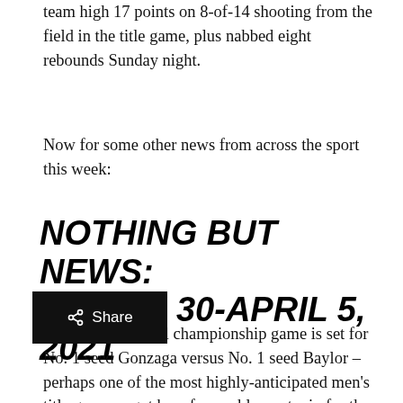team high 17 points on 8-of-14 shooting from the field in the title game, plus nabbed eight rebounds Sunday night.
Now for some other news from across the sport this week:
NOTHING BUT NEWS: MARCH 30-APRIL 5, 2021
The men's national championship game is set for No. 1 seed Gonzaga versus No. 1 seed Baylor – perhaps one of the most highly-anticipated men's title games we got here from a blowout win for the No. 2 seed Houston in the Final Four and the Zags pulling off a buzzer-beating overtime victory